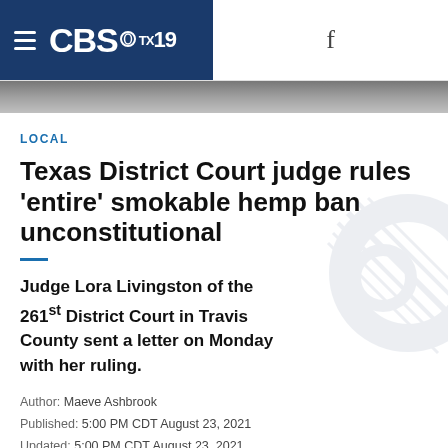CBS 19 — navigation header with hamburger menu and Facebook icon
[Figure (photo): Blurred hero image strip beneath navigation bar]
LOCAL
Texas District Court judge rules 'entire' smokable hemp ban unconstitutional
Judge Lora Livingston of the 261st District Court in Travis County sent a letter on Monday with her ruling.
Author: Maeve Ashbrook
Published: 5:00 PM CDT August 23, 2021
Updated: 5:00 PM CDT August 23, 2021
AUSTIN, Texas — A Travis County District Court Judge has